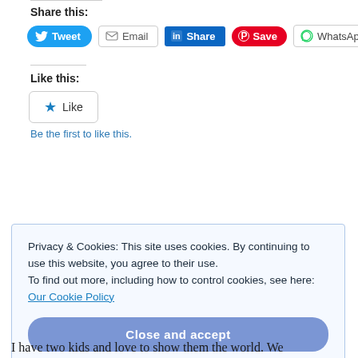Share this:
[Figure (infographic): Social sharing buttons: Tweet (Twitter, blue), Email (grey outlined), Share (LinkedIn, blue), Save (Pinterest, red), WhatsApp (outlined with green icon)]
Like this:
[Figure (infographic): Like button with star icon]
Be the first to like this.
Privacy & Cookies: This site uses cookies. By continuing to use this website, you agree to their use.
To find out more, including how to control cookies, see here: Our Cookie Policy
Close and accept
I have two kids and love to show them the world. We